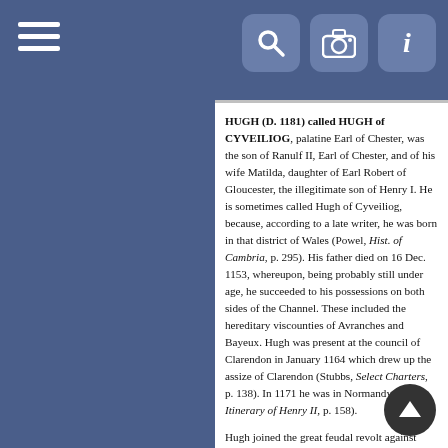Navigation bar with hamburger menu, search, camera, and info icons
HUGH (D. 1181) called HUGH of CYVEILIOG, palatine Earl of Chester, was the son of Ranulf II, Earl of Chester, and of his wife Matilda, daughter of Earl Robert of Gloucester, the illegitimate son of Henry I. He is sometimes called Hugh of Cyveiliog, because, according to a late writer, he was born in that district of Wales (Powel, Hist. of Cambria, p. 295). His father died on 16 Dec. 1153, whereupon, being probably still under age, he succeeded to his possessions on both sides of the Channel. These included the hereditary viscounties of Avranches and Bayeux. Hugh was present at the council of Clarendon in January 1164 which drew up the assize of Clarendon (Stubbs, Select Charters, p. 138). In 1171 he was in Normandy (Eyton, Itinerary of Henry II, p. 158).
Hugh joined the great feudal revolt against Henry II in 1173. Aided by Ralph of Fougeres, he utilised his great influence on the north-eastern marches of Brittany to excite the Bretons to revolt. Henry II despatched an army of Brabant mercenaries against them. The rebels were defeated in a battle, and on 26 Aug. were shut up in the castle of Dol, which they had captured by fraud not long before. On 23 Aug. Henry II arrived to